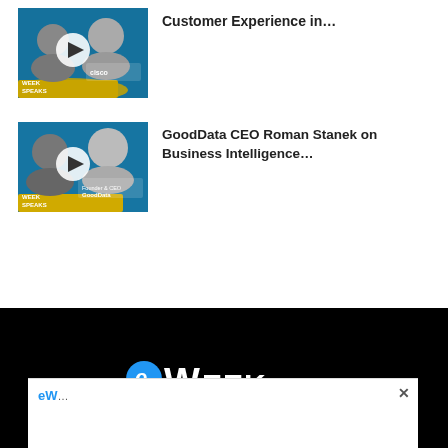[Figure (screenshot): Thumbnail for Cisco Customer Experience video with two men and play button, eWeek Speaks branding, blue/yellow design]
Customer Experience in...
[Figure (screenshot): Thumbnail for GoodData CEO Roman Stanek on Business Intelligence video with two men and play button, eWeek Speaks branding, blue/yellow design]
GoodData CEO Roman Stanek on Business Intelligence...
[Figure (logo): eWEEK logo in white on black background]
[Figure (screenshot): White popup overlay with close X button and partial text starting with eW...]